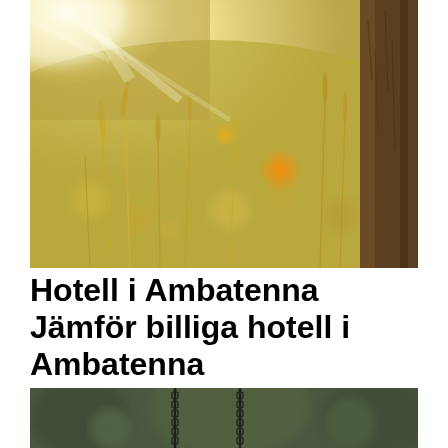[Figure (photo): Sunlit meadow with tall grass and wildflowers in bokeh, with the trunk of a tree on the right side. Warm golden light with lens flare.]
Hotell i Ambatenna Jämför billiga hotell i Ambatenna
[Figure (photo): Playground swing chains hanging from above with blurred trees in the background, dark moody outdoor setting.]